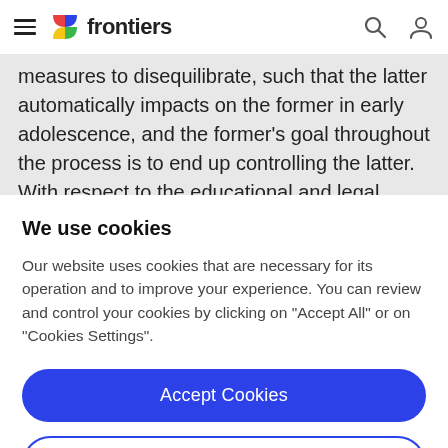frontiers
measures to disequilibrate, such that the latter automatically impacts on the former in early adolescence, and the former's goal throughout the process is to end up controlling the latter. With respect to the educational and legal consequences deriving from this account, a detailed
We use cookies
Our website uses cookies that are necessary for its operation and to improve your experience. You can review and control your cookies by clicking on "Accept All" or on "Cookies Settings".
Accept Cookies
Cookies Settings